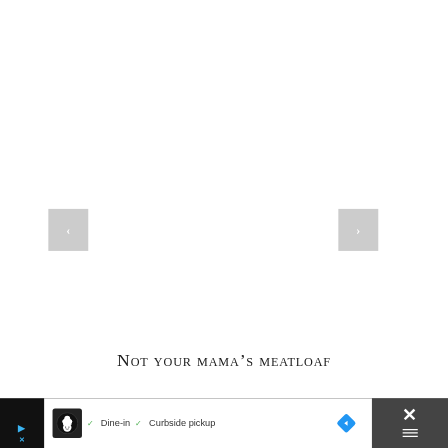[Figure (screenshot): Image carousel area with white background, left navigation arrow button (gray square with white left chevron) and right navigation arrow button (gray square with white right chevron)]
Not your mama's meatloaf
[Figure (screenshot): Advertisement bar at bottom: black background on left and right, white center with chef icon, checkmarks, 'Dine-in', 'Curbside pickup' text, blue diamond navigation icon, and close X button on dark right panel]